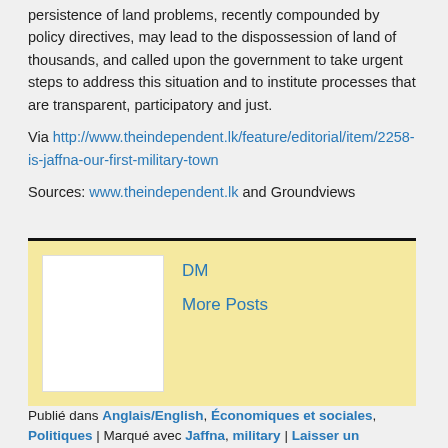persistence of land problems, recently compounded by policy directives, may lead to the dispossession of land of thousands, and called upon the government to take urgent steps to address this situation and to institute processes that are transparent, participatory and just.
Via http://www.theindependent.lk/feature/editorial/item/2258-is-jaffna-our-first-military-town
Sources: www.theindependent.lk and Groundviews
[Figure (other): Author box with yellow background, avatar placeholder, author initials DM, and More Posts link]
Publié dans Anglais/English, Économiques et sociales, Politiques | Marqué avec Jaffna, military | Laisser un